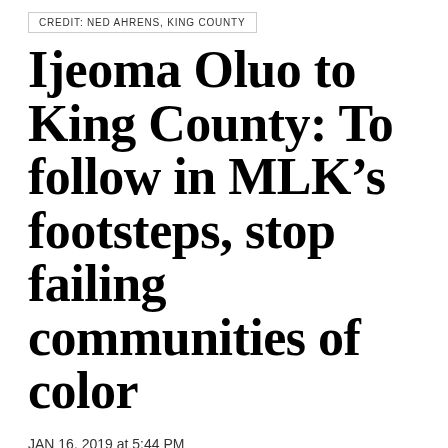CREDIT: NED AHRENS, KING COUNTY
Ijeoma Oluo to King County: To follow in MLK’s footsteps, stop failing communities of color
JAN 16, 2019 at 5:44 PM
BY
So
Feedback